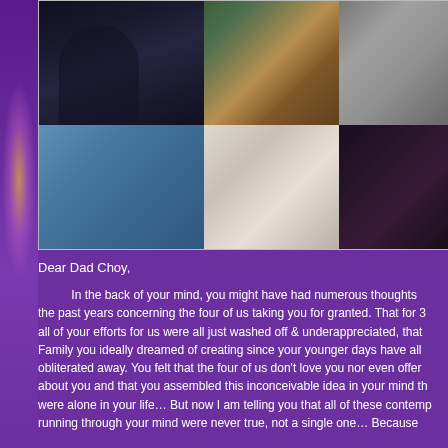[Figure (photo): Photo collage of 6 people arranged in a 3x2 grid: top-left shows a person playing guitar in black and white, top-center shows two people cooking, top-right shows a person in black and white portrait, bottom-left shows a young man in blue shirt with sunglasses outdoors, bottom-center shows a young man with glasses in plaid shirt, bottom-right shows a young woman with long dark hair.]
Dear Dad Choy,

    In the back of your mind, you might have had numerous thoughts throughout the past years concerning the four of us taking you for granted. That for 3 decades all of your efforts for us were all just washed off & underappreciated, that the ideal Family you ideally dreamed of creating since your younger days have all been obliterated away. You felt that the four of us don't love you nor even offer a care about you and that you assembled this inconceivable idea in your mind that you were alone in your life… But now I am telling you that all of these contemplations running through your mind were never true, not a single one… Becaus